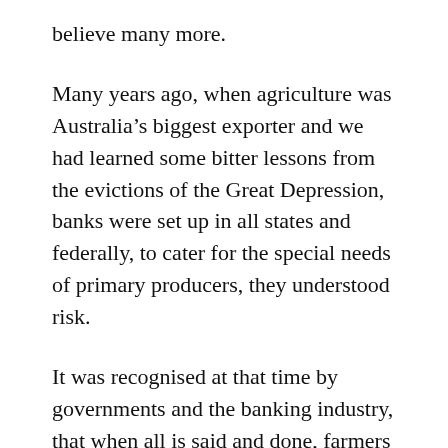believe many more.
Many years ago, when agriculture was Australia's biggest exporter and we had learned some bitter lessons from the evictions of the Great Depression, banks were set up in all states and federally, to cater for the special needs of primary producers, they understood risk.
It was recognised at that time by governments and the banking industry, that when all is said and done, farmers have different banking needs to the businesses on the high street. Put simply farmers, those who make a living from agricultural enterprises, from million acre